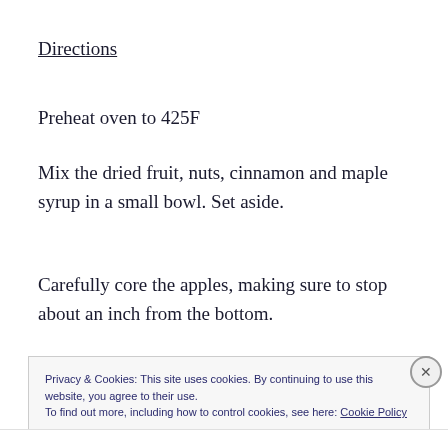Directions
Preheat oven to 425F
Mix the dried fruit, nuts, cinnamon and maple syrup in a small bowl. Set aside.
Carefully core the apples, making sure to stop about an inch from the bottom.
Privacy & Cookies: This site uses cookies. By continuing to use this website, you agree to their use.
To find out more, including how to control cookies, see here: Cookie Policy